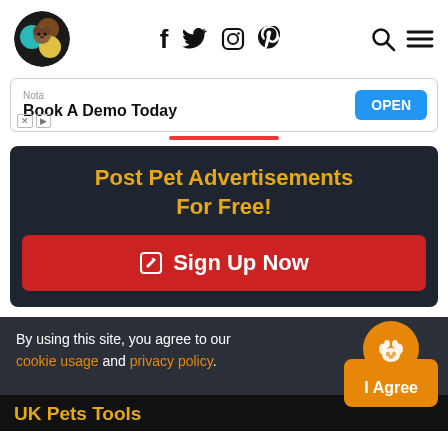UK Pets site header with logo, social icons (Facebook, Twitter, Instagram, Pinterest), search and menu
[Figure (infographic): Ad banner: Nota - Book A Demo Today - OPEN button]
[Figure (infographic): Dark CTA box: Post Pet Advertisements For Free! with red Sign Up Now button]
By using this site, you agree to our cookie usage and privacy policy.
I Agree
UK Pets Tools